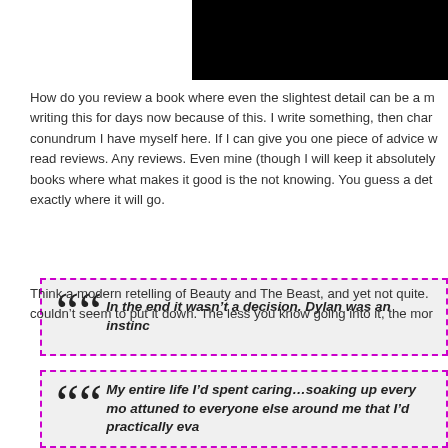[Figure (other): Black rectangle in top right corner, partially visible]
How do you review a book where even the slightest detail can be a m writing this for days now because of this. I write something, then char conundrum I have myself here. If I can give you one piece of advice w read reviews. Any reviews. Even mine (though I will keep it absolutely books where what makes it good is the not knowing. You guess a det exactly where it will go.
In the end it wasn't a decision. Dylan was an instinc
Think a modern retelling of Beauty and The Beast, and yet not quite. couldn't seem to put it down. The less you know going into it, the mor
My entire life I'd spent caring…soaking up every mo attuned to everyone else around me that I'd practically eva